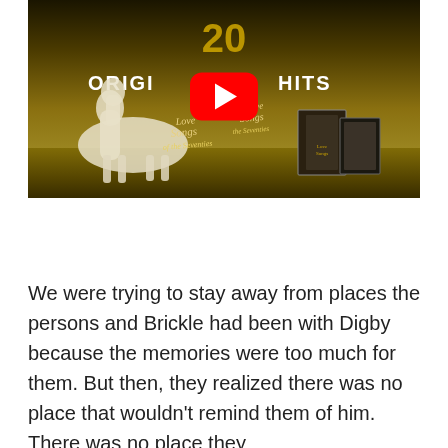[Figure (screenshot): YouTube video thumbnail showing a vintage TV advertisement for '20 Original Hits - Love Songs of the Seventies' album, with a white horse and album covers on a dark golden background, featuring a red YouTube play button overlay in the center.]
We were trying to stay away from places the persons and Brickle had been with Digby because the memories were too much for them. But then, they realized there was no place that wouldn't remind them of him. There was no place they